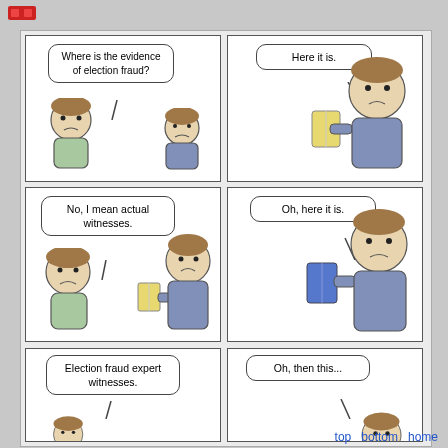[Figure (illustration): A 6-panel web comic (partially visible) about election fraud evidence. Panel 1: Two cartoon people, one asks 'Where is the evidence of election fraud?' Panel 2: Second person holds up a yellow book saying 'Here it is.' Panel 3: First person says 'No, I mean actual witnesses.' Second person holds yellow book. Panel 4: Second person holds up a blue book saying 'Oh, here it is.' Panel 5: First person says 'Election fraud expert witnesses.' Panel 6: Partially visible, second person says 'Oh, then this...' Navigation bar at bottom right with 'top bottom home' links.]
top   bottom   home